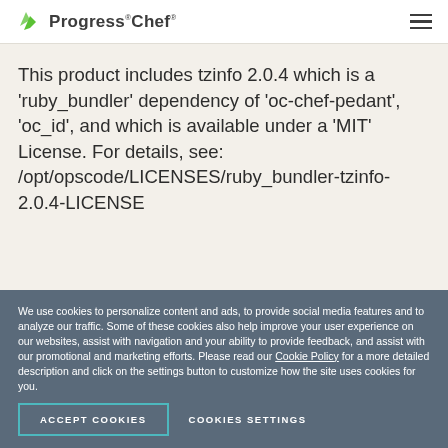Progress Chef
This product includes tzinfo 2.0.4 which is a 'ruby_bundler' dependency of 'oc-chef-pedant', 'oc_id', and which is available under a 'MIT' License. For details, see: /opt/opscode/LICENSES/ruby_bundler-tzinfo-2.0.4-LICENSE
We use cookies to personalize content and ads, to provide social media features and to analyze our traffic. Some of these cookies also help improve your user experience on our websites, assist with navigation and your ability to provide feedback, and assist with our promotional and marketing efforts. Please read our Cookie Policy for a more detailed description and click on the settings button to customize how the site uses cookies for you.
ACCEPT COOKIES   COOKIES SETTINGS